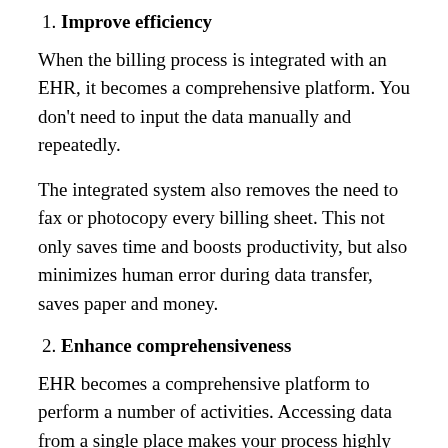1. Improve efficiency
When the billing process is integrated with an EHR, it becomes a comprehensive platform. You don't need to input the data manually and repeatedly.
The integrated system also removes the need to fax or photocopy every billing sheet. This not only saves time and boosts productivity, but also minimizes human error during data transfer, saves paper and money.
2. Enhance comprehensiveness
EHR becomes a comprehensive platform to perform a number of activities. Accessing data from a single place makes your process highly cost-effective and accurate.
3. Build trustworthy relationships